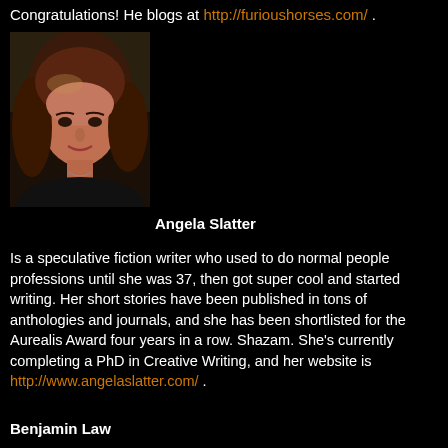Congratulations! He blogs at http://furioushorses.com/ .
[Figure (photo): Portrait photo of Angela Slatter, a woman with long reddish-brown hair, smiling, wearing a dark top and necklace, against a dark background.]
Angela Slatter
Is a speculative fiction writer who used to do normal people professions until she was 37, then got super cool and started writing. Her short stories have been published in tons of anthologies and journals, and she has been shortlisted for the Aurealis Award four years in a row. Shazam. She’s currently completing a PhD in Creative Writing, and her website is http://www.angelaslatter.com/ .
Benjamin Law